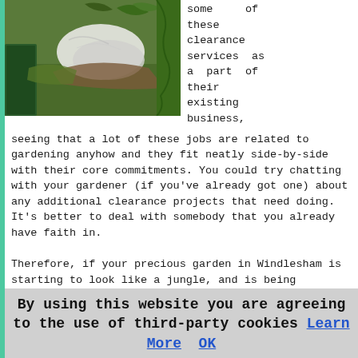[Figure (photo): Outdoor scene showing garden waste, plastic bags, tarpaulins and debris on green grass near a green container/bin]
some of these clearance services as a part of their existing business, seeing that a lot of these jobs are related to gardening anyhow and they fit neatly side-by-side with their core commitments. You could try chatting with your gardener (if you've already got one) about any additional clearance projects that need doing. It's better to deal with somebody that you already have faith in.
Therefore, if your precious garden in Windlesham is starting to look like a jungle, and is being blighted by domestic waste, dead leaves and lawn cuttings, it's high time you got into contact with your local garden clearance specialists so they can get it all looking neat and tidy once again. They will get working on your out-of-control garden, clean your paths and patios, tidy your trees and hedges, gather all of the junk, bag it all up and get it looking great once more.
By using this website you are agreeing to the use of third-party cookies Learn More OK